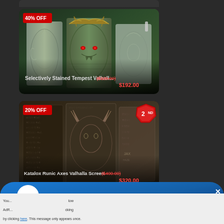[Figure (photo): Product card with 40% OFF badge showing decorative vaping device with dragon/Valhalla artwork]
Selectively Stained Tempest Valhall...    ($320.00)  $192.00
[Figure (photo): Product card with 20% OFF badge and 2ND badge showing Katalox Runic Axes Valhalla Screen vaping device]
Katalox Runic Axes Valhalla Screen    ($400.00)  $320.00
[Figure (photo): PayPal promotional banner with logo and close button]
You... AdR... by clicking here. This message only appears once.